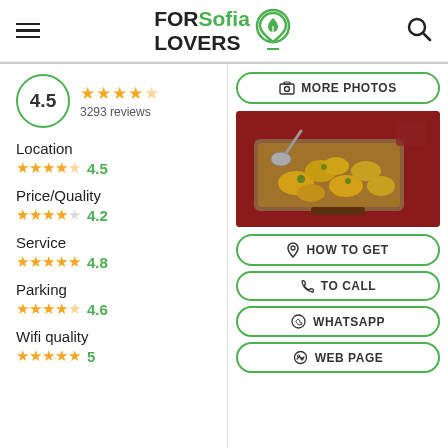FOR Sofia LOVERS
4.5 — 3293 reviews
Location 4.5
Price/Quality 4.2
Service 4.8
Parking 4.6
Wifi quality 5
[Figure (photo): Food photo showing roasted potatoes in a wooden tray with a ladle, on a red tablecloth]
MORE PHOTOS
HOW TO GET
TO CALL
WHATSAPP
WEB PAGE